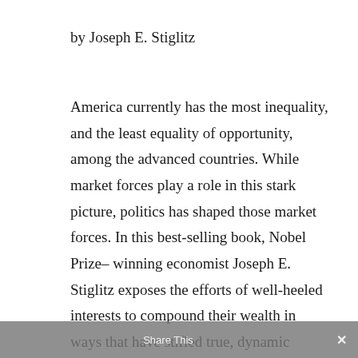by Joseph E. Stiglitz
America currently has the most inequality, and the least equality of opportunity, among the advanced countries. While market forces play a role in this stark picture, politics has shaped those market forces. In this best-selling book, Nobel Prize–winning economist Joseph E. Stiglitz exposes the efforts of well-heeled interests to compound their wealth in ways that have stifled true, dynamic capitalism. Along the way he examines the effect of inequality on our economy, our democracy, and our system of justice. Stiglitz explains how inequality affects and is affected by every aspect of national policy, and with characteristic insight he offers a vision for a more just and prosperous future,
Share This ×